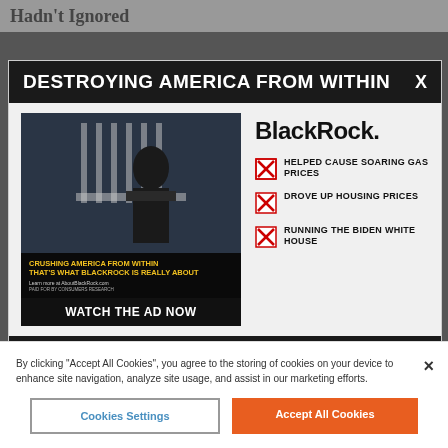Hadn't Ignored
DESTROYING AMERICA FROM WITHIN
[Figure (screenshot): Video thumbnail showing a man in front of a government building with yellow text overlay: 'CRUSHING AMERICA FROM WITHIN THAT'S WHAT BLACKROCK IS REALLY ABOUT' and call to action 'WATCH THE AD NOW']
BlackRock
HELPED CAUSE SOARING GAS PRICES
DROVE UP HOUSING PRICES
RUNNING THE BIDEN WHITE HOUSE
ABOUTBLACKROCK.COM    PAID FOR BY CONSUMERS RESEARCH
By clicking “Accept All Cookies”, you agree to the storing of cookies on your device to enhance site navigation, analyze site usage, and assist in our marketing efforts.
Cookies Settings    Accept All Cookies